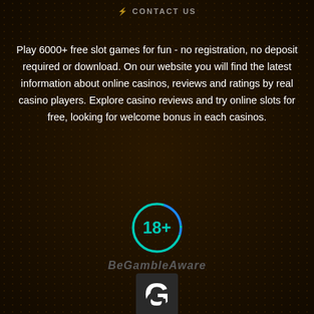CONTACT US
Play 6000+ free slot games for fun - no registration, no deposit required or download. On our website you will find the latest information about online casinos, reviews and ratings by real casino players. Explore casino reviews and try online slots for free, looking for welcome bonus in each casinos.
[Figure (infographic): 18+ age restriction badge — teal circle with '18+' text in teal on dark background]
[Figure (logo): BeGambleAware logo text in dark grey italic]
[Figure (logo): GamCare logo — white G icon on dark square background with GAMCARE text below]